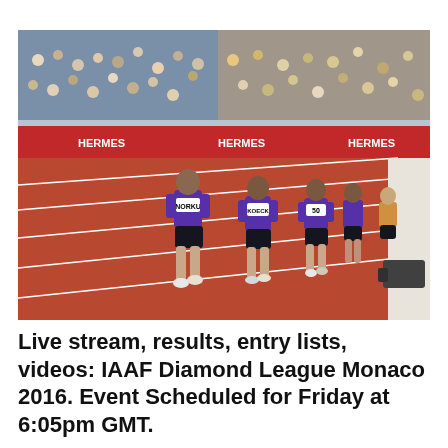[Figure (photo): Athletes running on a red track at a stadium during the IAAF Diamond League Monaco 2016 event. Lead runner wearing purple Nike kit with bib number visible. Packed crowd in stands in background.]
Live stream, results, entry lists, videos: IAAF Diamond League Monaco 2016. Event Scheduled for Friday at 6:05pm GMT.